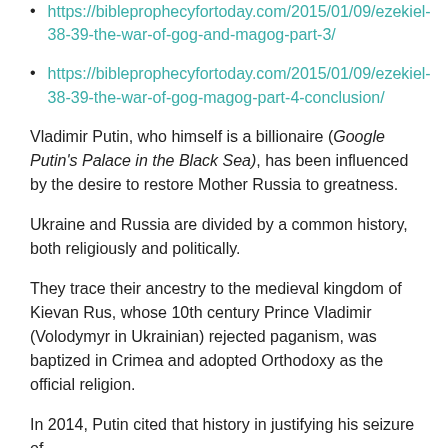https://bibleprophecyfortoday.com/2015/01/09/ezekiel-38-39-the-war-of-gog-and-magog-part-3/
https://bibleprophecyfortoday.com/2015/01/09/ezekiel-38-39-the-war-of-gog-magog-part-4-conclusion/
Vladimir Putin, who himself is a billionaire (Google Putin's Palace in the Black Sea), has been influenced by the desire to restore Mother Russia to greatness.
Ukraine and Russia are divided by a common history, both religiously and politically.
They trace their ancestry to the medieval kingdom of Kievan Rus, whose 10th century Prince Vladimir (Volodymyr in Ukrainian) rejected paganism, was baptized in Crimea and adopted Orthodoxy as the official religion.
In 2014, Putin cited that history in justifying his seizure of